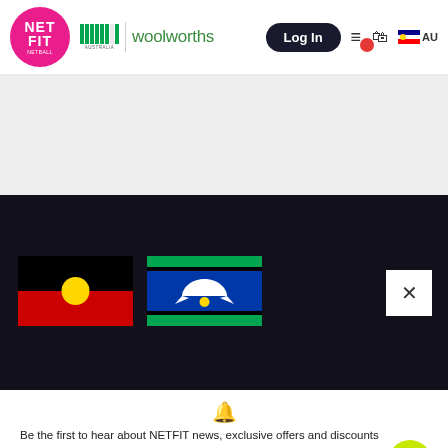[Figure (logo): NETFIT Netball circular pink logo]
[Figure (logo): Netball Australia logo with stripes]
woolworths
Log In
[Figure (illustration): Aboriginal flag - black top half, red bottom half, yellow circle in center]
[Figure (illustration): Torres Strait Islander flag - green top and bottom stripes, blue center with white dhari symbol]
X
🔔
Be the first to hear about NETFIT news, exclusive offers and discounts
First Name
Last Name
Email